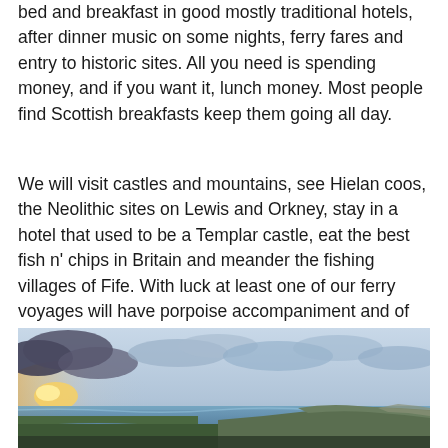bed and breakfast in good mostly traditional hotels, after dinner music on some nights, ferry fares and entry to historic sites. All you need is spending money, and if you want it, lunch money. Most people find Scottish breakfasts keep them going all day.
We will visit castles and mountains, see Hielan coos, the Neolithic sites on Lewis and Orkney, stay in a hotel that used to be a Templar castle, eat the best fish n' chips in Britain and meander the fishing villages of Fife. With luck at least one of our ferry voyages will have porpoise accompaniment and of course there will be haggis aplenty!
[Figure (photo): Coastal landscape photograph showing a dramatic sky with clouds and a golden sunset or sunrise on the left, and a stretch of coastline with green fields and cliffs extending toward the right. Sea is visible in the middle distance.]